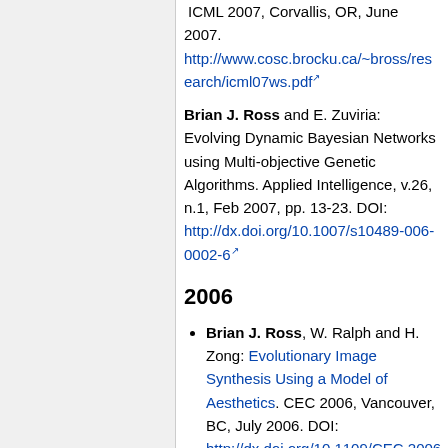ICML 2007, Corvallis, OR, June 2007. http://www.cosc.brocku.ca/~bross/research/icml07ws.pdf
Brian J. Ross and E. Zuviria: Evolving Dynamic Bayesian Networks using Multi-objective Genetic Algorithms. Applied Intelligence, v.26, n.1, Feb 2007, pp. 13-23. DOI: http://dx.doi.org/10.1007/s10489-006-0002-6
2006
Brian J. Ross, W. Ralph and H. Zong: Evolutionary Image Synthesis Using a Model of Aesthetics. CEC 2006, Vancouver, BC, July 2006. DOI: http://dx.doi.org/10.1109/CEC.2006.1